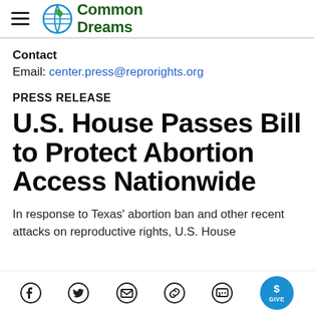Common Dreams
Contact
Email: center.press@reprorights.org
PRESS RELEASE
U.S. House Passes Bill to Protect Abortion Access Nationwide
In response to Texas' abortion ban and other recent attacks on reproductive rights, U.S. House